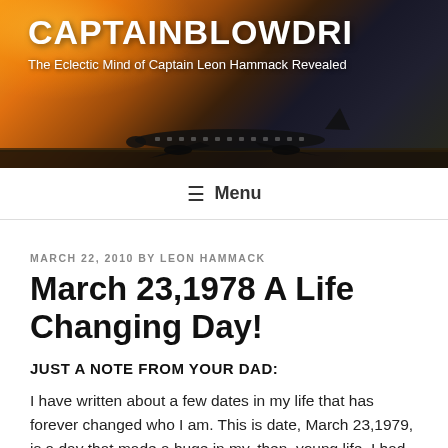[Figure (photo): Blog header image showing an airplane on a runway at sunset/sunrise with orange and dark sky tones, with site title and tagline overlay]
CAPTAINBLOWDRI
The Eclectic Mind of Captain Leon Hammack Revealed
Menu
MARCH 22, 2010 BY LEON HAMMACK
March 23,1978 A Life Changing Day!
JUST A NOTE FROM YOUR DAD:
I have written about a few dates in my life that has forever changed who I am.  This is date, March 23,1979, is a day that made a huge in my, then, young life.  I had just turned 27 years old the month previous and was a young U.S. Air Force Captain flying in the left seat of a Lockheed